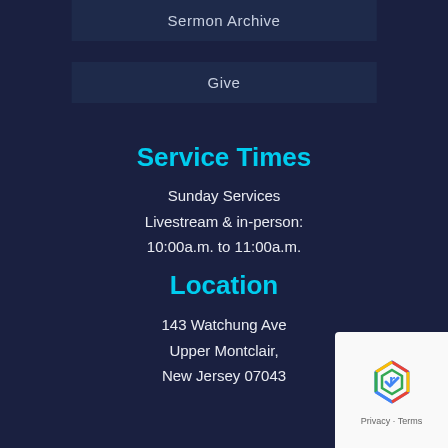Sermon Archive
Give
Service Times
Sunday Services
Livestream & in-person:
10:00a.m. to 11:00a.m.
Location
143 Watchung Ave
Upper Montclair,
New Jersey 07043
[Figure (logo): reCAPTCHA badge with Google logo, showing privacy and terms links]